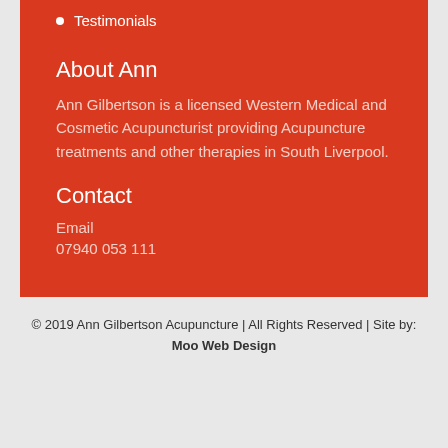Testimonials
About Ann
Ann Gilbertson is a licensed Western Medical and Cosmetic Acupuncturist providing Acupuncture treatments and other therapies in South Liverpool.
Contact
Email
07940 053 111
© 2019 Ann Gilbertson Acupuncture | All Rights Reserved | Site by: Moo Web Design